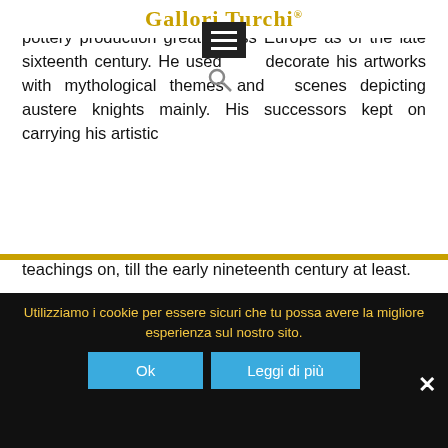Gallori Turchi
most renowned. Carlo Antonio Grue made Castelli pottery production great across Europe as of the late sixteenth century. He used to decorate his artworks with mythological themes and scenes depicting austere knights mainly. His successors kept on carrying his artistic teachings on, till the early nineteenth century at least.
Drawing is the starting point of the whole pottery production. It's then very important to the following stages, from the shaping to the glazing and decorating ones.
After drying the piece of pottery out at room
Utilizziamo i cookie per essere sicuri che tu possa avere la migliore esperienza sul nostro sito.